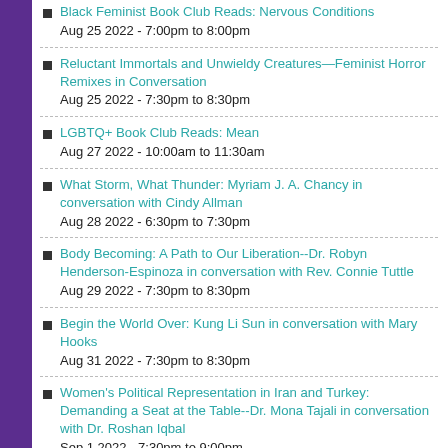Black Feminist Book Club Reads: Nervous Conditions
Aug 25 2022 - 7:00pm to 8:00pm
Reluctant Immortals and Unwieldy Creatures—Feminist Horror Remixes in Conversation
Aug 25 2022 - 7:30pm to 8:30pm
LGBTQ+ Book Club Reads: Mean
Aug 27 2022 - 10:00am to 11:30am
What Storm, What Thunder: Myriam J. A. Chancy in conversation with Cindy Allman
Aug 28 2022 - 6:30pm to 7:30pm
Body Becoming: A Path to Our Liberation--Dr. Robyn Henderson-Espinoza in conversation with Rev. Connie Tuttle
Aug 29 2022 - 7:30pm to 8:30pm
Begin the World Over: Kung Li Sun in conversation with Mary Hooks
Aug 31 2022 - 7:30pm to 8:30pm
Women's Political Representation in Iran and Turkey: Demanding a Seat at the Table--Dr. Mona Tajali in conversation with Dr. Roshan Iqbal
Sep 1 2022 - 7:30pm to 9:00pm
Gender-Creative Parenting Collective
Sep 7 2022 - 7:00pm to 9:00pm